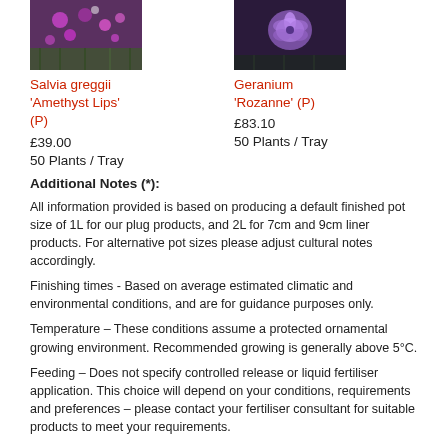[Figure (photo): Photo of Salvia greggii 'Amethyst Lips' plant with purple and white flowers]
[Figure (photo): Photo of Geranium 'Rozanne' plant with purple flowers]
Salvia greggii 'Amethyst Lips' (P)
£39.00
50 Plants / Tray
Geranium 'Rozanne' (P)
£83.10
50 Plants / Tray
Additional Notes (*):
All information provided is based on producing a default finished pot size of 1L for our plug products, and 2L for 7cm and 9cm liner products. For alternative pot sizes please adjust cultural notes accordingly.
Finishing times - Based on average estimated climatic and environmental conditions, and are for guidance purposes only.
Temperature – These conditions assume a protected ornamental growing environment. Recommended growing is generally above 5°C.
Feeding – Does not specify controlled release or liquid fertiliser application. This choice will depend on your conditions, requirements and preferences – please contact your fertiliser consultant for suitable products to meet your requirements.